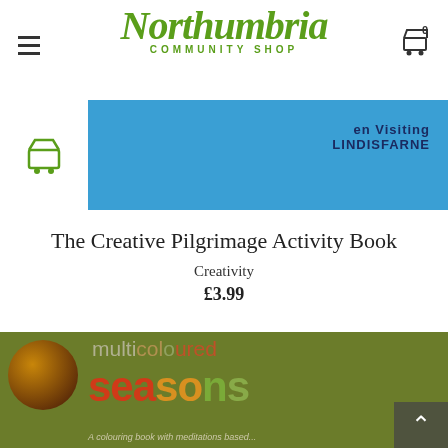[Figure (logo): Northumbria Community Shop logo with green script lettering and subtitle]
[Figure (screenshot): Blue banner with shopping cart and text 'en Visiting Lindisfarne']
The Creative Pilgrimage Activity Book
Creativity
£3.99
[Figure (photo): Book cover showing 'multicoloured seasons' with colourful text on green background, circular image on left, and caption 'A colouring book with meditations based...']